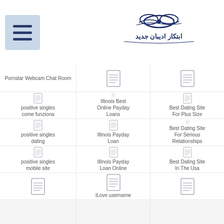Navigation header with hamburger menu and Persian logo
| Column 1 | Column 2 | Column 3 |
| --- | --- | --- |
| Pornstar Webcam Chat Room | (icon) | (icon/partial) |
| positive singles come funziona | Illinois Best Online Payday Loans | Best Dating Site For Plus Size |
| positive singles dating | Illinois Payday Loan | Best Dating Site For Serious Relationships |
| positive singles mobile site | Illinois Payday Loan Online | Best Dating Site In The Usa |
| (icon) | iLove username | (icon) |